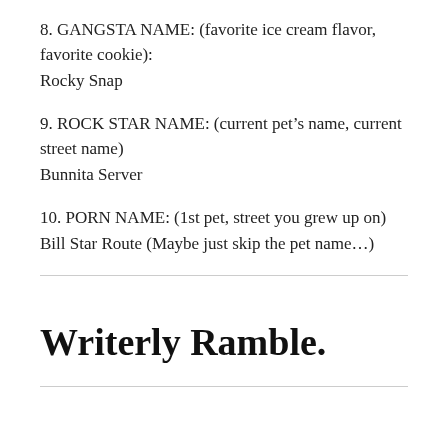8. GANGSTA NAME: (favorite ice cream flavor, favorite cookie):
Rocky Snap
9. ROCK STAR NAME: (current pet’s name, current street name)
Bunnita Server
10. PORN NAME: (1st pet, street you grew up on)
Bill Star Route (Maybe just skip the pet name…)
Writerly Ramble.